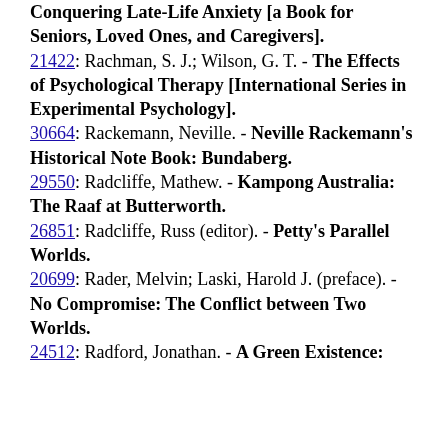Conquering Late-Life Anxiety [a Book for Seniors, Loved Ones, and Caregivers].
21422: Rachman, S. J.; Wilson, G. T. - The Effects of Psychological Therapy [International Series in Experimental Psychology].
30664: Rackemann, Neville. - Neville Rackemann's Historical Note Book: Bundaberg.
29550: Radcliffe, Mathew. - Kampong Australia: The Raaf at Butterworth.
26851: Radcliffe, Russ (editor). - Petty's Parallel Worlds.
20699: Rader, Melvin; Laski, Harold J. (preface). - No Compromise: The Conflict between Two Worlds.
24512: Radford, Jonathan. - A Green Existence: